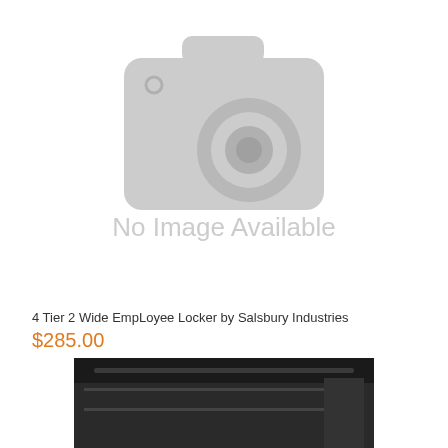[Figure (illustration): No Image Available placeholder showing a grey camera icon and the text 'No Image Available' in large grey letters]
4 Tier 2 Wide EmpLoyee Locker by Salsbury Industries
$285.00
[Figure (photo): Partial view of a product (locker) photo at the bottom of the page, cropped]